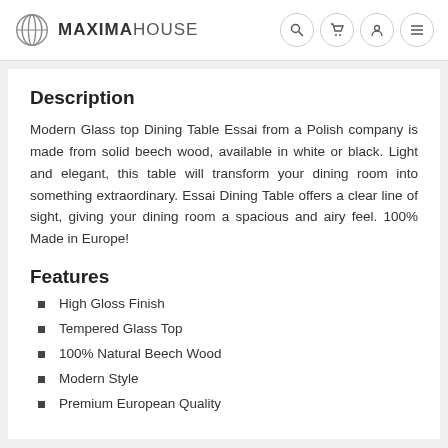MAXIMAHOUSE
Description
Modern Glass top Dining Table Essai from a Polish company is made from solid beech wood, available in white or black. Light and elegant, this table will transform your dining room into something extraordinary. Essai Dining Table offers a clear line of sight, giving your dining room a spacious and airy feel. 100% Made in Europe!
Features
High Gloss Finish
Tempered Glass Top
100% Natural Beech Wood
Modern Style
Premium European Quality